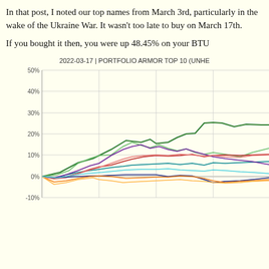In that post, I noted our top names from March 3rd, particularly in the wake of the Ukraine War. It wasn't too late to buy on March 17th.
If you bought it then, you were up 48.45% on your BTU
[Figure (line-chart): Multi-line chart showing portfolio performance from March 17 2022, with lines representing different stocks. Y-axis ranges from -10% to 50%. One green line rises to about 25-27% by the end. Other lines cluster between -5% and 20%.]